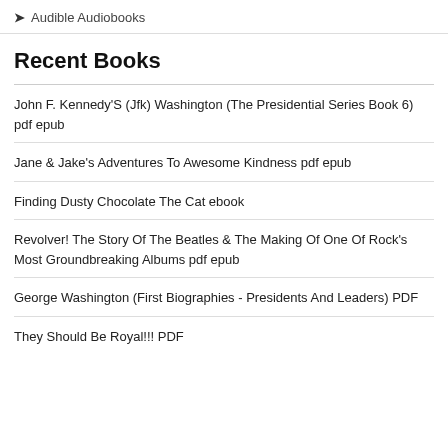Audible Audiobooks
Recent Books
John F. Kennedy'S (Jfk) Washington (The Presidential Series Book 6) pdf epub
Jane & Jake's Adventures To Awesome Kindness pdf epub
Finding Dusty Chocolate The Cat ebook
Revolver! The Story Of The Beatles & The Making Of One Of Rock's Most Groundbreaking Albums pdf epub
George Washington (First Biographies - Presidents And Leaders) PDF
They Should Be Royal!!! PDF